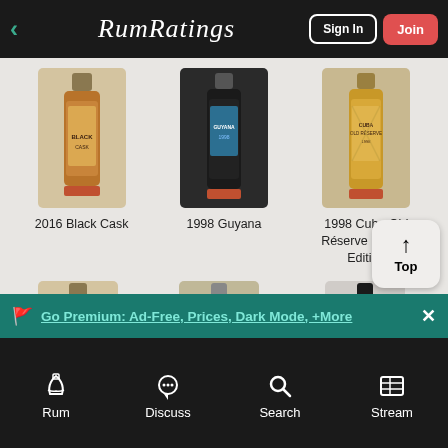RumRatings — Sign In | Join
[Figure (screenshot): RumRatings mobile app screenshot showing rum bottle product listings in a grid: 2016 Black Cask, 1998 Guyana, 1998 Cuba Old Réserve Limited Edition in first row; three more bottles partially visible in second row]
2016 Black Cask
1998 Guyana
1998 Cuba Old Réserve Limited Edition
Go Premium: Ad-Free, Prices, Dark Mode, +More
Rum   Discuss   Search   Stream